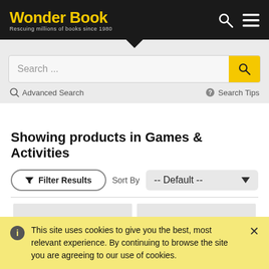Wonder Book — Rescuing millions of books since 1980
Search ...
Advanced Search   Search Tips
Showing products in Games & Activities
▼ Filter Results   Sort By   -- Default --
Few and Chosen: Defining Yankee Greatness Across the Eras
Complete Idiot's Guide to Family Games
This site uses cookies to give you the best, most relevant experience. By continuing to browse the site you are agreeing to our use of cookies.